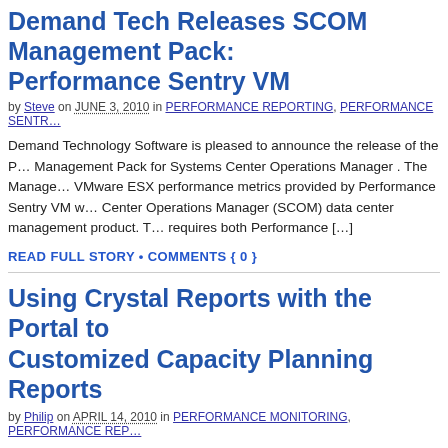Demand Tech Releases SCOM Management Pack: Performance Sentry VM
by Steve on JUNE 3, 2010 in PERFORMANCE REPORTING, PERFORMANCE SENTRY
Demand Technology Software is pleased to announce the release of the Performance Management Pack for Systems Center Operations Manager . The Management Pack integrates VMware ESX performance metrics provided by Performance Sentry VM with the Systems Center Operations Manager (SCOM) data center management product. The Management Pack requires both Performance [...]
READ FULL STORY • COMMENTS { 0 }
Using Crystal Reports with the Portal to Create Customized Capacity Planning Reports
by Philip on APRIL 14, 2010 in PERFORMANCE MONITORING, PERFORMANCE REPORTING
A Performance Sentry Portal user emailed support wanting to use Crystal Reports and MS-SQL database to generate three basic management reports for each server over a predefined period (monthly, quarterly, etc.) Average memory (monthly, quarterly, etc.) Average disk usage in a [...]